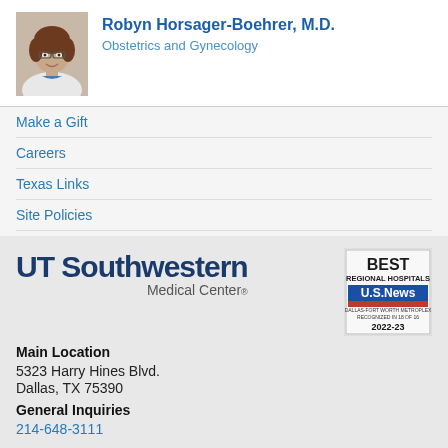[Figure (photo): Photo of Dr. Robyn Horsager-Boehrer, a woman with brown hair wearing glasses and a white coat, smiling]
Robyn Horsager-Boehrer, M.D.
Obstetrics and Gynecology
Make a Gift
Careers
Texas Links
Site Policies
Non-Discrimination Policy
[Figure (logo): UT Southwestern Medical Center logo]
[Figure (logo): US News Best Regional Hospitals badge 2022-23]
Main Location
5323 Harry Hines Blvd.
Dallas, TX 75390
General Inquiries
214-648-3111